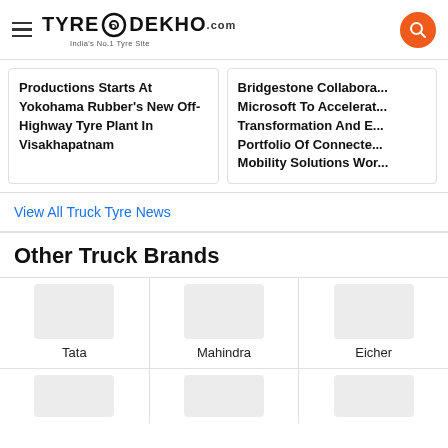TyreDekho.com — India's No.1 Tyre Site
Productions Starts At Yokohama Rubber's New Off-Highway Tyre Plant In Visakhapatnam
Bridgestone Collabora... Microsoft To Accelerat... Transformation And E... Portfolio Of Connecte... Mobility Solutions Wor...
View All Truck Tyre News
Other Truck Brands
Tata
Mahindra
Eicher